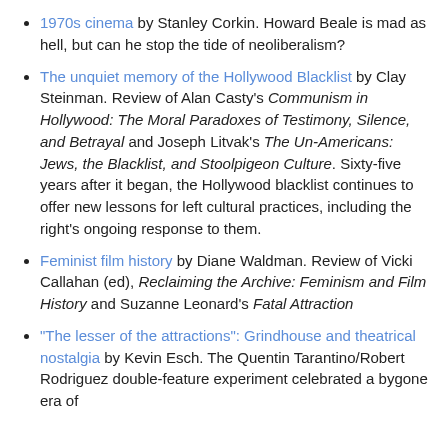1970s cinema by Stanley Corkin. Howard Beale is mad as hell, but can he stop the tide of neoliberalism?
The unquiet memory of the Hollywood Blacklist by Clay Steinman. Review of Alan Casty's Communism in Hollywood: The Moral Paradoxes of Testimony, Silence, and Betrayal and Joseph Litvak's The Un-Americans: Jews, the Blacklist, and Stoolpigeon Culture. Sixty-five years after it began, the Hollywood blacklist continues to offer new lessons for left cultural practices, including the right's ongoing response to them.
Feminist film history by Diane Waldman. Review of Vicki Callahan (ed), Reclaiming the Archive: Feminism and Film History and Suzanne Leonard's Fatal Attraction
“The lesser of the attractions”: Grindhouse and theatrical nostalgia by Kevin Esch. The Quentin Tarantino/Robert Rodriguez double-feature experiment celebrated a bygone era of